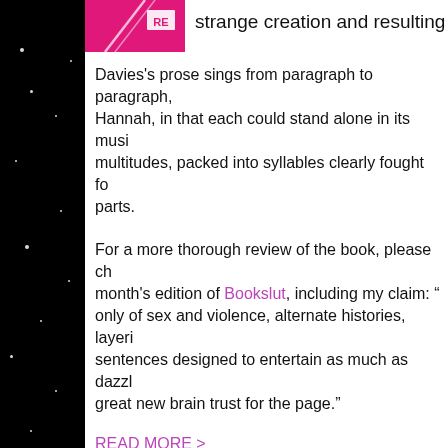[Figure (illustration): Pink book cover thumbnail with white design elements]
strange creation and resulting
Davies's prose sings from paragraph to paragraph, like Hannah, in that each could stand alone in its musi multitudes, packed into syllables clearly fought fo parts.
For a more thorough review of the book, please ch month's edition of Bookslut, including my claim: “ only of sex and violence, alternate histories, layeri sentences designed to entertain as much as dazzl great new brain trust for the page.”
READ MORE >
Author News / 6 Comments
June 1st, 2009 / 9:35 pm